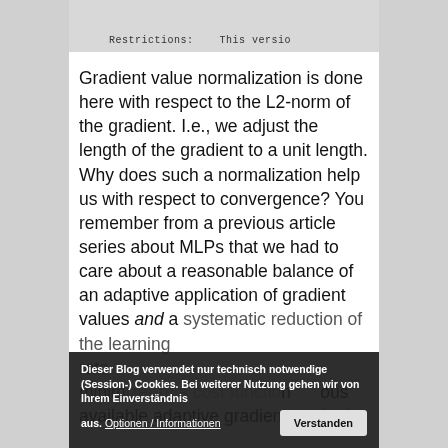Restrictions:    This versio
Gradient value normalization is done here with respect to the L2-norm of the gradient. I.e., we adjust the length of the gradient to a unit length. Why does such a normalization help us with respect to convergence? You remember from a previous article series about MLPs that we had to care about a reasonable balance of an adaptive application of gradient values and a systematic reduction of the learning rate ... minimizer of a cost function ... various available adaptive gradient methods
Dieser Blog verwendet nur technisch notwendige (Session-) Cookies. Bei weiterer Nutzung gehen wir von Ihrem Einverständnis aus. Optionen / Informationen   Verstanden